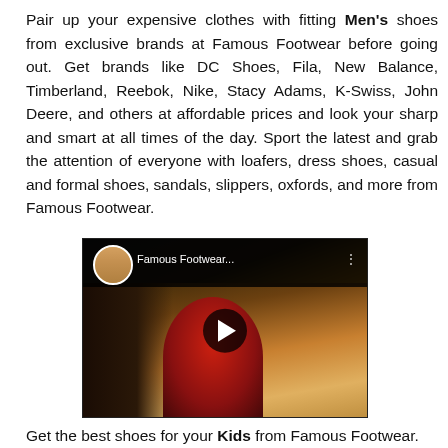Pair up your expensive clothes with fitting Men's shoes from exclusive brands at Famous Footwear before going out. Get brands like DC Shoes, Fila, New Balance, Timberland, Reebok, Nike, Stacy Adams, K-Swiss, John Deere, and others at affordable prices and look your sharp and smart at all times of the day. Sport the latest and grab the attention of everyone with loafers, dress shoes, casual and formal shoes, sandals, slippers, oxfords, and more from Famous Footwear.
[Figure (screenshot): YouTube video thumbnail showing Famous Footwear promotional video with a play button in the center. The thumbnail shows two people outdoors, one wearing a red Nike shirt. The video header shows a woman's profile picture circle and the title 'Famous Footwear...' on a dark background.]
Get the best shoes for your Kids from Famous Footwear.